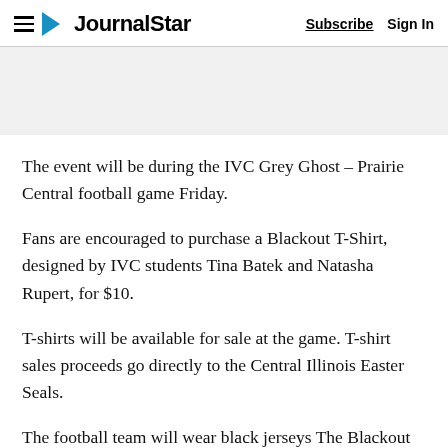Journal Star — Subscribe | Sign In
The event will be during the IVC Grey Ghost – Prairie Central football game Friday.
Fans are encouraged to purchase a Blackout T-Shirt, designed by IVC students Tina Batek and Natasha Rupert, for $10.
T-shirts will be available for sale at the game. T-shirt sales proceeds go directly to the Central Illinois Easter Seals.
The football team will wear black jerseys The Blackout jerseys worn by the players will be silent